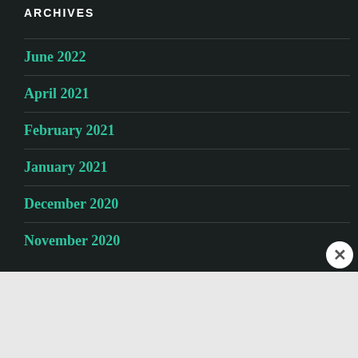ARCHIVES
June 2022
April 2021
February 2021
January 2021
December 2020
November 2020
Advertisements
[Figure (illustration): WordPress.com advertisement banner with gradient background (blue to pink/purple). Text reads 'Simplified pricing for everything you need.' with WordPress.com logo on the right.]